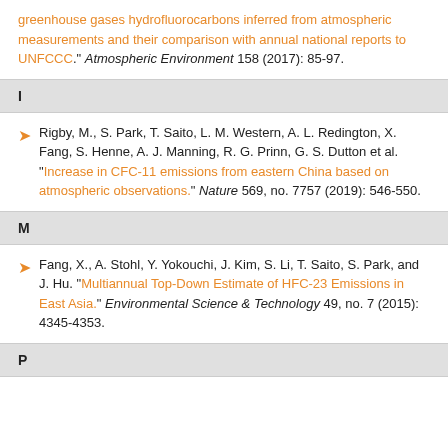greenhouse gases hydrofluorocarbons inferred from atmospheric measurements and their comparison with annual national reports to UNFCCC." Atmospheric Environment 158 (2017): 85-97.
I
Rigby, M., S. Park, T. Saito, L. M. Western, A. L. Redington, X. Fang, S. Henne, A. J. Manning, R. G. Prinn, G. S. Dutton et al. "Increase in CFC-11 emissions from eastern China based on atmospheric observations." Nature 569, no. 7757 (2019): 546-550.
M
Fang, X., A. Stohl, Y. Yokouchi, J. Kim, S. Li, T. Saito, S. Park, and J. Hu. "Multiannual Top-Down Estimate of HFC-23 Emissions in East Asia." Environmental Science & Technology 49, no. 7 (2015): 4345-4353.
P